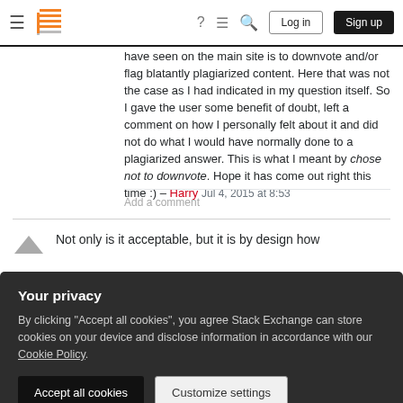Stack Exchange navigation bar with hamburger menu, logo, help, chat, search, Log in, Sign up
have seen on the main site is to downvote and/or flag blatantly plagiarized content. Here that was not the case as I had indicated in my question itself. So I gave the user some benefit of doubt, left a comment on how I personally felt about it and did not do what I would have normally done to a plagiarized answer. This is what I meant by chose not to downvote. Hope it has come out right this time :) – Harry Jul 4, 2015 at 8:53
Add a comment
Not only is it acceptable, but it is by design how
Your privacy
By clicking "Accept all cookies", you agree Stack Exchange can store cookies on your device and disclose information in accordance with our Cookie Policy.
Accept all cookies   Customize settings
as possible. I have no problem with the accepted